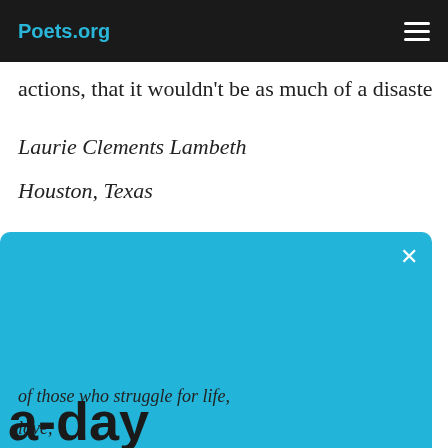Poets.org
actions, that it wouldn’t be as much of a disaste
Laurie Clements Lambeth
Houston, Texas
[Figure (screenshot): Subscribe to Poem-a-Day modal popup on a blue background with email input field and submit button. Text reads: Subscribe to Poem-a-Day. Celebrate National Poetry Month with a poem delivered to your inbox every day. Email address field. We will not share your information with anyone.]
of those who struggle for life,
love,